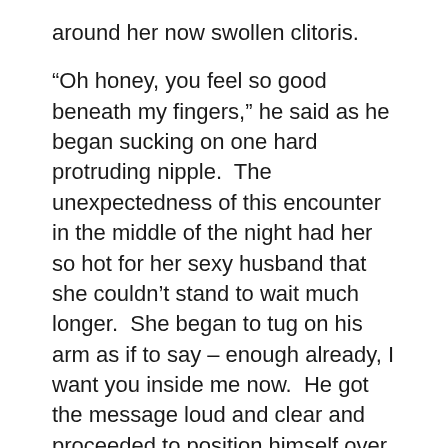around her now swollen clitoris.

“Oh honey, you feel so good beneath my fingers,” he said as he began sucking on one hard protruding nipple.  The unexpectedness of this encounter in the middle of the night had her so hot for her sexy husband that she couldn’t stand to wait much longer.  She began to tug on his arm as if to say – enough already, I want you inside me now.  He got the message loud and clear and proceeded to position himself over her as she spread her legs wide inviting him to the pleasure that awaited.  Her well-lubricated vagina made it sooo easy for him to slide right in, and the moment of their union made both of them moan with ecstasy.  They soon found their rhythm, thrusting back and forth, circling their hips round and round.  Her muscles squeezing in and out around his swollen penis.  Between kisses and I love you’s, he would reach down and pull in one luscious nipple and then the other